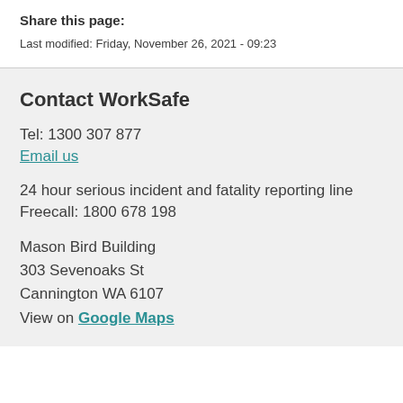Share this page:
Last modified: Friday, November 26, 2021 - 09:23
Contact WorkSafe
Tel: 1300 307 877
Email us
24 hour serious incident and fatality reporting line
Freecall: 1800 678 198
Mason Bird Building
303 Sevenoaks St
Cannington WA 6107
View on Google Maps